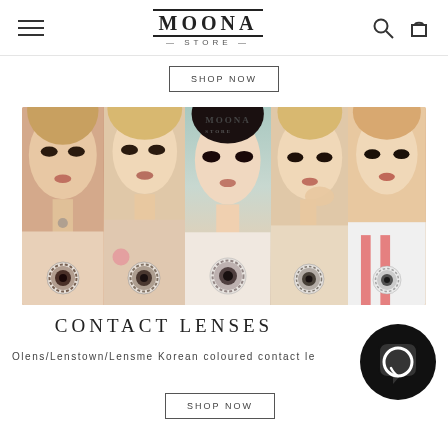MOONA STORE
SHOP NOW
[Figure (photo): Five-panel collage of young Asian women modeling colored contact lenses, each panel showing a different woman's face with a contact lens swatch displayed at the bottom. Center panel shows MOONA logo watermark.]
CONTACT LENSES
Olens/Lenstown/Lensme Korean coloured contact le...
SHOP NOW